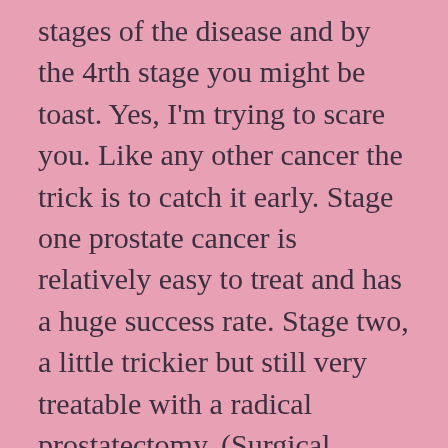stages of the disease and by the 4rth stage you might be toast. Yes, I'm trying to scare you. Like any other cancer the trick is to catch it early. Stage one prostate cancer is relatively easy to treat and has a huge success rate. Stage two, a little trickier but still very treatable with a radical prostatectomy. (Surgical removal of the prostate or other options depending on your situation). Stage three